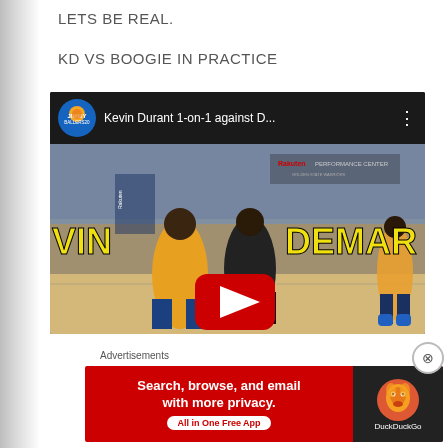LETS BE REAL.
KD VS BOOGIE IN PRACTICE
[Figure (screenshot): YouTube video thumbnail showing Kevin Durant 1-on-1 against DeMarcus Cousins in practice at Rakuten Performance Center. Two players in mid-play, yellow text overlay reading VIN and DEMAR on sides. Red YouTube play button in center. Channel: JIMMYBALLERS20.]
Kevin Durant 1-on-1 against D...
Advertisements
[Figure (screenshot): DuckDuckGo advertisement banner: Search, browse, and email with more privacy. All in One Free App. Red background on left, dark background with DuckDuckGo duck logo on right.]